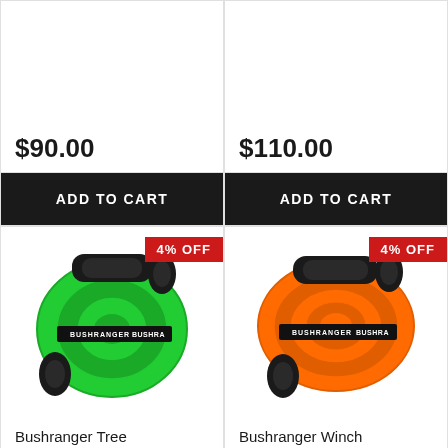$90.00
ADD TO CART
$110.00
ADD TO CART
[Figure (photo): Bushranger green tree saver strap coiled with black protective sleeves on loops, with BUSHRANGER branding band, with 4% OFF badge]
Bushranger Tree
[Figure (photo): Bushranger orange winch extension strap coiled with black protective sleeves on loops, with BUSHRANGER branding band, with 4% OFF badge]
Bushranger Winch